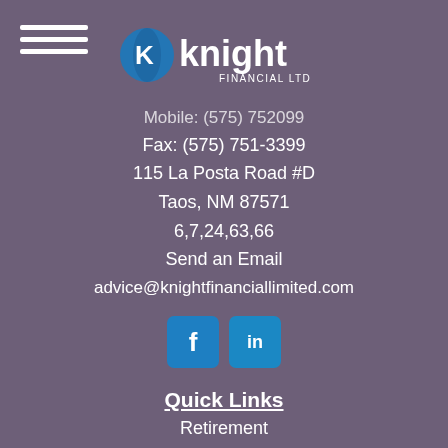[Figure (logo): Knight Financial Ltd logo with blue sphere and white text]
Mobile: (575) 752099
Fax: (575) 751-3399
115 La Posta Road #D
Taos, NM 87571
6,7,24,63,66
Send an Email
advice@knightfinanciallimited.com
[Figure (illustration): Facebook and LinkedIn social media icon buttons]
Quick Links
Retirement
Investment
Money
Lifestyle
All Articles
All Videos
All Calculators
All Presentations